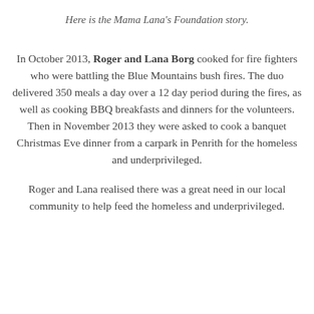Here is the Mama Lana's Foundation story.
In October 2013, Roger and Lana Borg cooked for fire fighters who were battling the Blue Mountains bush fires. The duo delivered 350 meals a day over a 12 day period during the fires, as well as cooking BBQ breakfasts and dinners for the volunteers. Then in November 2013 they were asked to cook a banquet Christmas Eve dinner from a carpark in Penrith for the homeless and underprivileged.
Roger and Lana realised there was a great need in our local community to help feed the homeless and underprivileged.